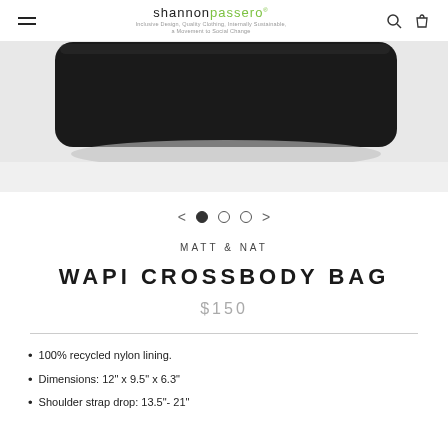shannonpassero — Inclusive Design, Quality Clothing, Internally Sustainable, a Movement to Social Change
[Figure (photo): Bottom portion of a black rectangular crossbody bag on a white/grey background]
< • ○ ○ >
MATT & NAT
WAPI CROSSBODY BAG
$150
100% recycled nylon lining.
Dimensions: 12" x 9.5" x 6.3"
Shoulder strap drop: 13.5"- 21"